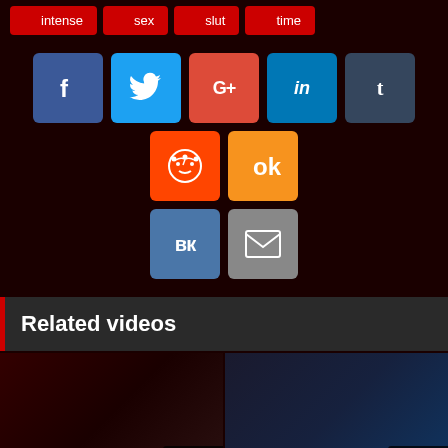intense
sex
slut
time
[Figure (infographic): Social sharing buttons: Facebook, Twitter, Google+, LinkedIn, Tumblr, Reddit, Odnoklassniki, VK, Email]
Related videos
[Figure (screenshot): Video thumbnail left with duration 12:00:55, title: Naked publicly in the middle of]
[Figure (screenshot): Video thumbnail right with duration 18:00:36, title: BANGBROS – Young Riley Reid]